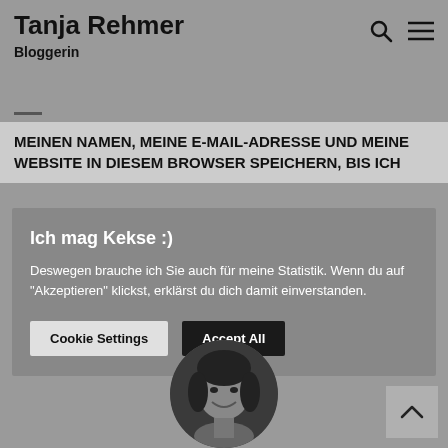Tanja Rehmer
Bloggerin
MEINEN NAMEN, MEINE E-MAIL-ADRESSE UND MEINE WEBSITE IN DIESEM BROWSER SPEICHERN, BIS ICH
Ich mag Kekse :)
Deswegen brauche ich Sie auch für meine Statistik. Wenn du auf "Akzeptieren" klickst, erklärst du dich damit einverstanden.
Cookie Settings  Accept All
[Figure (photo): Circular black and white portrait photo of a smiling woman]